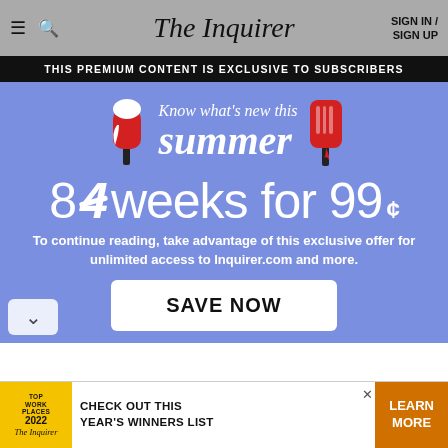The Inquirer | SIGN IN / SIGN UP
THIS PREMIUM CONTENT IS EXCLUSIVE TO SUBSCRIBERS
[Figure (illustration): Summer subscription promotion banner with popsicle illustrations, text 'Know what's new this summer', offer '8 4 weeks for 99¢']
To continue reading, take advantage of this exclusive offer for unlimited access to Inquirer.com and more.
SAVE NOW
[Figure (infographic): Bottom advertisement banner: Top Work Places 2022 The Inquirer - CHECK OUT THIS YEAR'S WINNERS LIST - LEARN MORE]